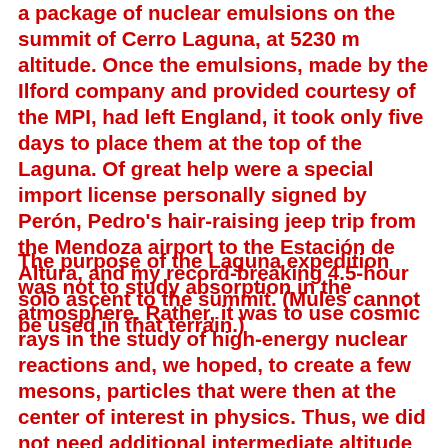a package of nuclear emulsions on the summit of Cerro Laguna, at 5230 m altitude. Once the emulsions, made by the Ilford company and provided courtesy of the MPI, had left England, it took only five days to place them at the top of the Laguna. Of great help were a special import license personally signed by Perón, Pedro's hair-raising jeep trip from the Mendoza airport to the Estación de Altura, and my record-breaking 4.5-hour solo ascent to the summit. (Mules cannot be used in that terrain.)
The purpose of the Laguna expedition was not to study absorption in the atmosphere. Rather, it was to use cosmic rays in the study of high-energy nuclear reactions and, we hoped, to create a few mesons, particles that were then at the center of interest in physics. Thus, we did not need additional intermediate altitude exposures. The plates were exposed at the summit for just five days. After we retrieved them, we brought the emulsions to Buenos Aires and developed them in our cubicle. Our efforts this time were well rewarded: We found two events (a lot at the time) in which emulsion nuclei captured π- mesons and then